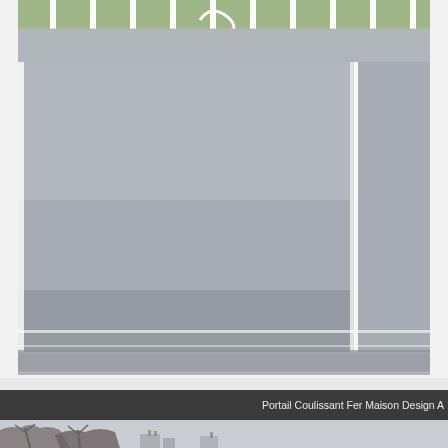[Figure (photo): A white metal sliding gate (portail coulissant) with decorative ironwork at the top, set against a background of green grass and trees. The large lower panel is a smooth grey surface. A sliding rail is visible at the bottom. The photo is cropped and shows part of the gate mechanism.]
Portail Coulissant Fer Maison Design A
[Figure (photo): A partial view of a landscape with bare trees and buildings in the background against a grey sky.]